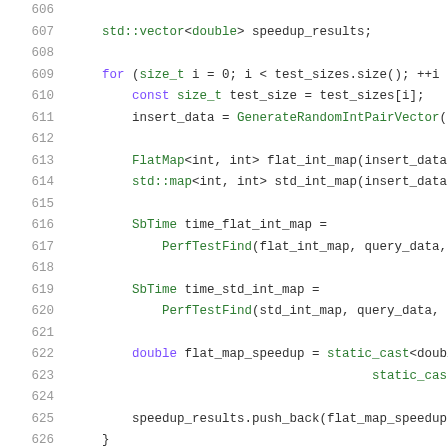Code snippet lines 606-626 showing C++ source code with std::vector, for loop, FlatMap, std::map, SbTime, PerfTestFind, static_cast, and speedup_results.push_back operations